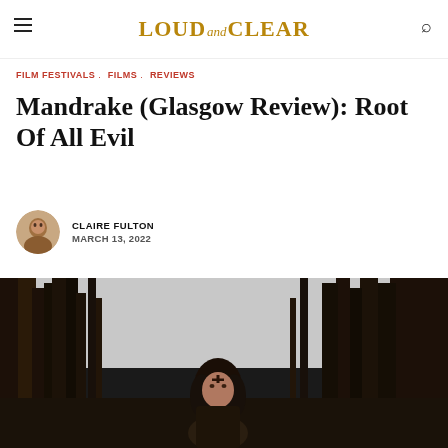LOUD and CLEAR
FILM FESTIVALS, FILMS, REVIEWS
Mandrake (Glasgow Review): Root Of All Evil
CLAIRE FULTON
MARCH 13, 2022
[Figure (photo): A woman with dark curly hair and a mark on her forehead stands in a forest of tall trees. Scene from the film Mandrake.]